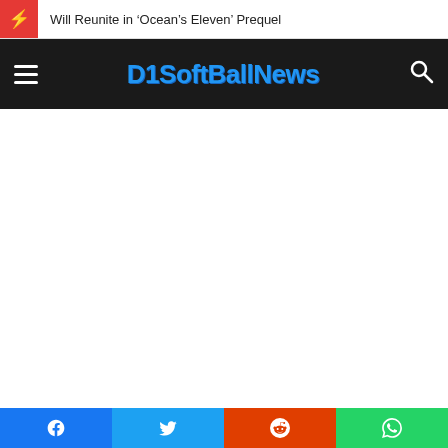Will Reunite in 'Ocean's Eleven' Prequel
D1SoftBallNews
[Figure (screenshot): White blank main content area of a news website]
[Figure (infographic): Social share bar with Facebook, Twitter, Reddit, and WhatsApp icons]